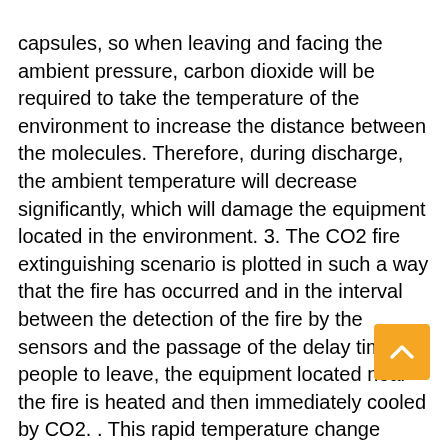capsules, so when leaving and facing the ambient pressure, carbon dioxide will be required to take the temperature of the environment to increase the distance between the molecules. Therefore, during discharge, the ambient temperature will decrease significantly, which will damage the equipment located in the environment. 3. The CO2 fire extinguishing scenario is plotted in such a way that the fire has occurred and in the interval between the detection of the fire by the sensors and the passage of the delay time for people to leave, the equipment located near the fire is heated and then immediately cooled by CO2. . This rapid temperature change changes the appearance of metal objects and deforms them. In many cases, it is necessary to replace the mentioned parts. Therefore, the ideal fire extinguishing system is a system that does not cause a sudden change in ambient temperature. 4. CO2 is a greenhouse gas that destroys the ozone layer and raises the Earth's temperature. (ODP = 1, GWP = 1). It